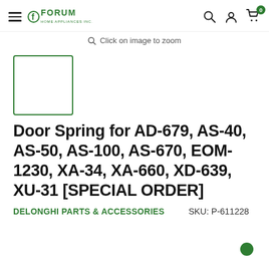Forum Home Appliances Inc. — navigation header with search, account, cart (0)
Click on image to zoom
[Figure (other): Product image placeholder — empty white box with green border]
Door Spring for AD-679, AS-40, AS-50, AS-100, AS-670, EOM-1230, XA-34, XA-660, XD-639, XU-31 [SPECIAL ORDER]
DELONGHI PARTS & ACCESSORIES   SKU: P-611228